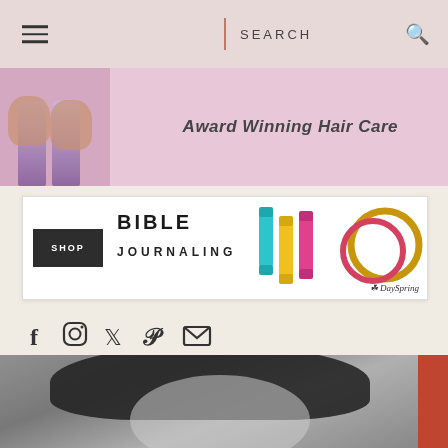SEARCH
[Figure (photo): Advertisement banner for award winning hair care products showing two purple bottles held by hands against a pink background]
[Figure (infographic): Bible Journaling advertisement with SHOP button, colored markers, gold rings, and DaySpring logo]
[Figure (infographic): Social media icons row: Facebook, Instagram, Twitter, Pinterest, Email]
[Figure (photo): Black and white photo of a woman with dark hair, with a red/orange accent bar on the right edge]